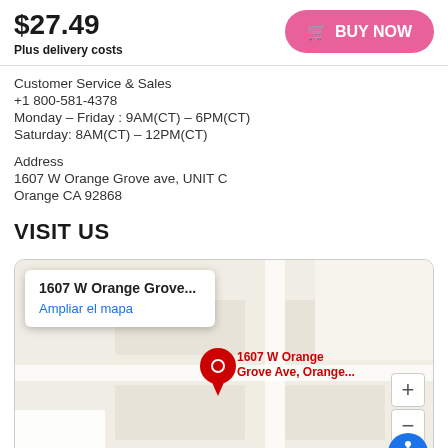$27.49
Plus delivery costs
BUY NOW
Customer Service & Sales
+1 800-581-4378
Monday – Friday : 9AM(CT) – 6PM(CT)
Saturday: 8AM(CT) – 12PM(CT)
Address
1607 W Orange Grove ave, UNIT C
Orange CA 92868
VISIT US
[Figure (map): Google Maps embed showing location pin at 1607 W Orange Grove Ave, Orange, CA. Popup reads '1607 W Orange Grove...' with link 'Ampliar el mapa'. Map label shows '1607 W Orange Grove Ave, Orange...' in red. Google watermark at bottom. Zoom +/- controls and accessibility button visible.]